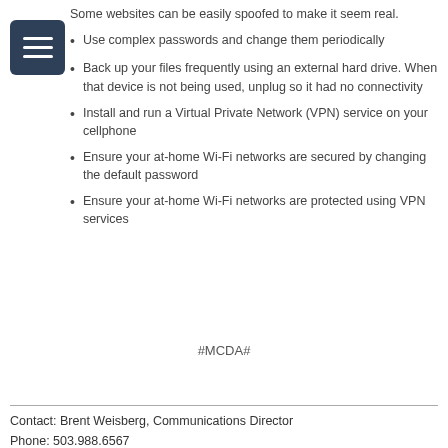Some websites can be easily spoofed to make it seem real.
Use complex passwords and change them periodically
Back up your files frequently using an external hard drive. When that device is not being used, unplug so it had no connectivity
Install and run a Virtual Private Network (VPN) service on your cellphone
Ensure your at-home Wi-Fi networks are secured by changing the default password
Ensure your at-home Wi-Fi networks are protected using VPN services
#MCDA#
Contact: Brent Weisberg, Communications Director
Phone: 503.988.6567